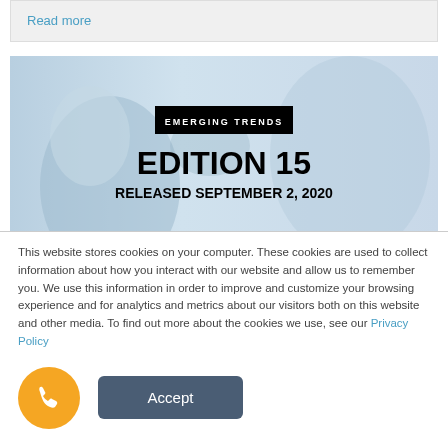Read more
[Figure (photo): Banner image showing hands using a smartphone with text overlay: EMERGING TRENDS, EDITION 15, RELEASED SEPTEMBER 2, 2020]
This website stores cookies on your computer. These cookies are used to collect information about how you interact with our website and allow us to remember you. We use this information in order to improve and customize your browsing experience and for analytics and metrics about our visitors both on this website and other media. To find out more about the cookies we use, see our Privacy Policy
Accept